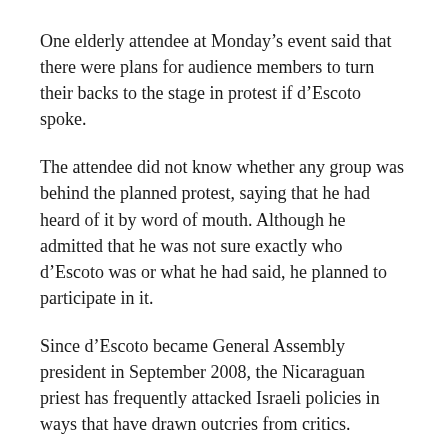One elderly attendee at Monday’s event said that there were plans for audience members to turn their backs to the stage in protest if d’Escoto spoke.
The attendee did not know whether any group was behind the planned protest, saying that he had heard of it by word of mouth. Although he admitted that he was not sure exactly who d’Escoto was or what he had said, he planned to participate in it.
Since d’Escoto became General Assembly president in September 2008, the Nicaraguan priest has frequently attacked Israeli policies in ways that have drawn outcries from critics.
In November, he accused Israel of “crucifying our Palestinian brothers and sisters” and referred to it as an “apartheid state.” In December, he decried Israel’s refusal to allow UN Special